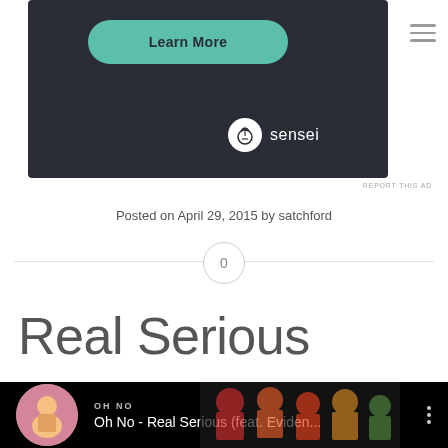[Figure (screenshot): Advertisement banner with dark background, a teal 'Learn More' button, and the Sensei logo in the lower right.]
REPORT THIS AD
Posted on April 29, 2015 by satchford
[Figure (other): Horizontal divider line with a circle containing the number 0 in the center.]
Real Serious
[Figure (screenshot): YouTube video embed showing 'Oh No - Real Serious (feat. Eviden...' with album art thumbnail on the left and a group of illustrated characters on the right.]